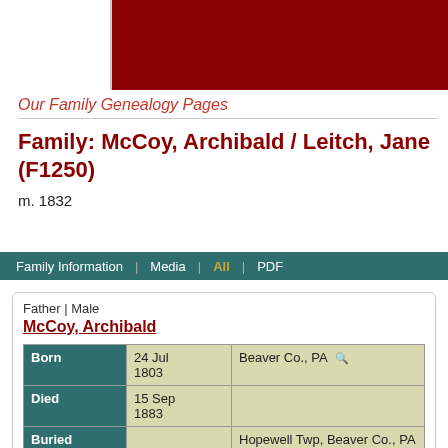Our Family Genealogy Pages
Family: McCoy, Archibald / Leitch, Jane (F1250)
m. 1832
Group Sheet
Family Information | Media | All | PDF
Father | Male
McCoy, Archibald
|  | Date | Place |
| --- | --- | --- |
| Born | 24 Jul 1803 | Beaver Co., PA |
| Died | 15 Sep 1883 |  |
| Buried |  | Hopewell Twp, Beaver Co., PA |